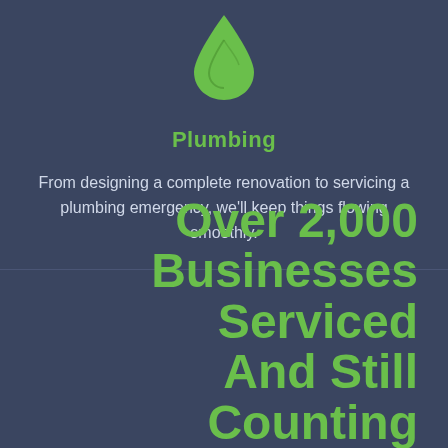[Figure (illustration): Green water droplet icon with a leaf-like shape inside]
Plumbing
From designing a complete renovation to servicing a plumbing emergency, we'll keep things flowing smoothly.
Over 2,000 Businesses Serviced And Still Counting